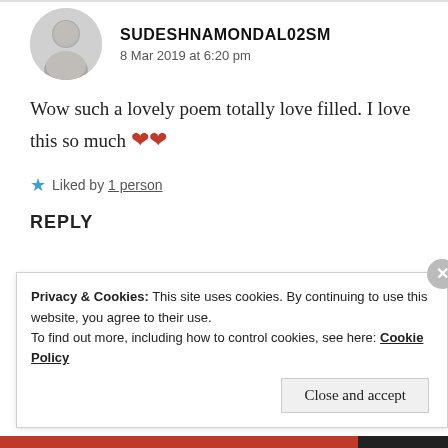SUDESHNAMONDAL02SM
8 Mar 2019 at 6:20 pm
Wow such a lovely poem totally love filled. I love this so much ❤❤
★ Liked by 1 person
REPLY
Privacy & Cookies: This site uses cookies. By continuing to use this website, you agree to their use.
To find out more, including how to control cookies, see here: Cookie Policy
Close and accept